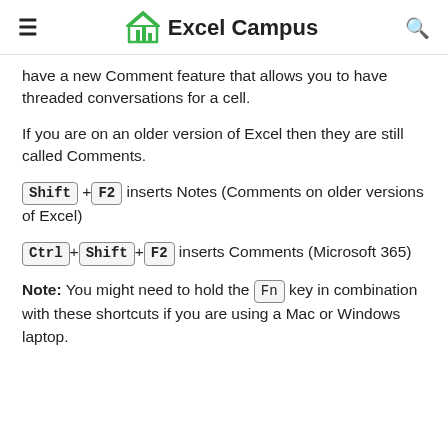Excel Campus
have a new Comment feature that allows you to have threaded conversations for a cell.
If you are on an older version of Excel then they are still called Comments.
Shift + F2 inserts Notes (Comments on older versions of Excel)
Ctrl + Shift + F2 inserts Comments (Microsoft 365)
Note: You might need to hold the Fn key in combination with these shortcuts if you are using a Mac or Windows laptop.